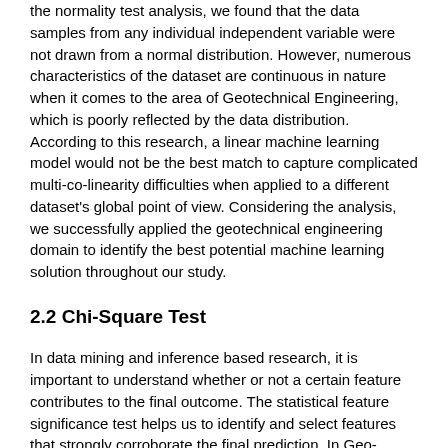the normality test analysis, we found that the data samples from any individual independent variable were not drawn from a normal distribution. However, numerous characteristics of the dataset are continuous in nature when it comes to the area of Geotechnical Engineering, which is poorly reflected by the data distribution. According to this research, a linear machine learning model would not be the best match to capture complicated multi-co-linearity difficulties when applied to a different dataset's global point of view. Considering the analysis, we successfully applied the geotechnical engineering domain to identify the best potential machine learning solution throughout our study.
2.2 Chi-Square Test
In data mining and inference based research, it is important to understand whether or not a certain feature contributes to the final outcome. The statistical feature significance test helps us to identify and select features that strongly corroborate the final prediction. In Geo-technical Science, identifying key factors that best predict a Landslide Susceptibility is an indispensable part. In our